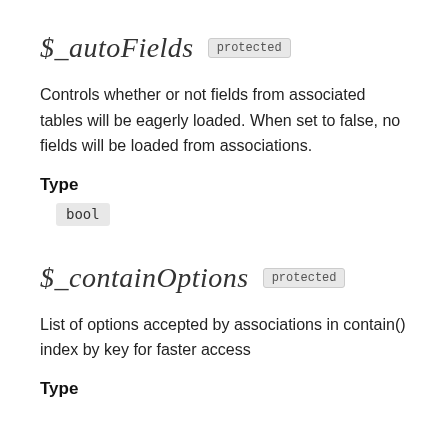$_autoFields protected
Controls whether or not fields from associated tables will be eagerly loaded. When set to false, no fields will be loaded from associations.
Type
bool
$_containOptions protected
List of options accepted by associations in contain() index by key for faster access
Type